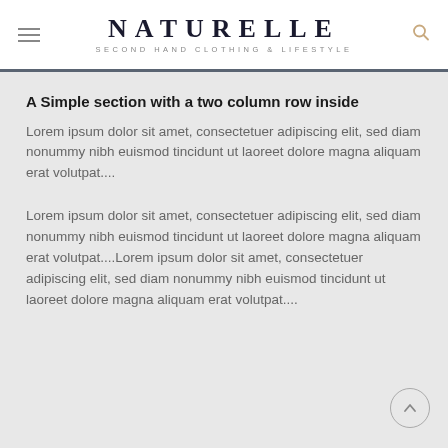NATURELLE — SECOND HAND CLOTHING & LIFESTYLE
A Simple section with a two column row inside
Lorem ipsum dolor sit amet, consectetuer adipiscing elit, sed diam nonummy nibh euismod tincidunt ut laoreet dolore magna aliquam erat volutpat....
Lorem ipsum dolor sit amet, consectetuer adipiscing elit, sed diam nonummy nibh euismod tincidunt ut laoreet dolore magna aliquam erat volutpat....Lorem ipsum dolor sit amet, consectetuer adipiscing elit, sed diam nonummy nibh euismod tincidunt ut laoreet dolore magna aliquam erat volutpat....